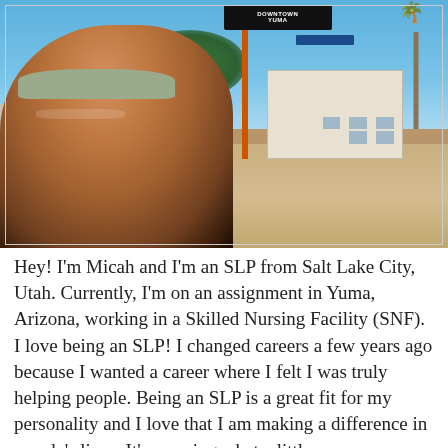[Figure (photo): Selfie of a man with a beard and baseball cap (Micah) smiling outdoors in front of a Downtown Yuma sign on an orange pole, with palm trees, blue sky, and storefronts visible in the background.]
Hey! I'm Micah and I'm an SLP from Salt Lake City, Utah. Currently, I'm on an assignment in Yuma, Arizona, working in a Skilled Nursing Facility (SNF). I love being an SLP! I changed careers a few years ago because I wanted a career where I felt I was truly helping people. Being an SLP is a great fit for my personality and I love that I am making a difference in people's lives. It's amazing what a little